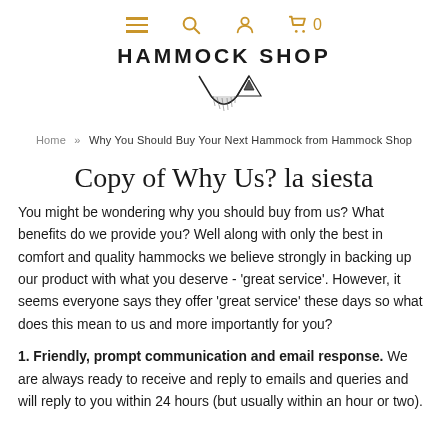Hammock Shop navigation bar with hamburger menu, search, user, and cart icons
[Figure (logo): Hammock Shop logo with text 'HAMMOCK SHOP' above a hammock illustration]
Home » Why You Should Buy Your Next Hammock from Hammock Shop
Copy of Why Us? la siesta
You might be wondering why you should buy from us? What benefits do we provide you? Well along with only the best in comfort and quality hammocks we believe strongly in backing up our product with what you deserve - 'great service'. However, it seems everyone says they offer 'great service' these days so what does this mean to us and more importantly for you?
1. Friendly, prompt communication and email response. We are always ready to receive and reply to emails and queries and will reply to you within 24 hours (but usually within an hour or two).